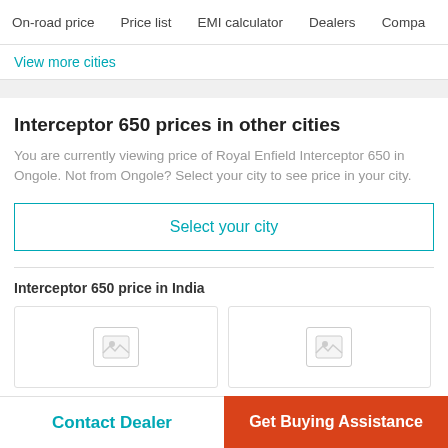On-road price  Price list  EMI calculator  Dealers  Compa
View more cities
Interceptor 650 prices in other cities
You are currently viewing price of Royal Enfield Interceptor 650 in Ongole. Not from Ongole? Select your city to see price in your city.
Select your city
Interceptor 650 price in India
[Figure (other): Two vehicle image placeholder cards side by side]
Contact Dealer  Get Buying Assistance